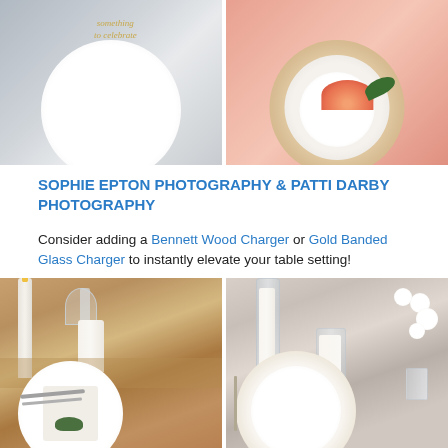[Figure (photo): Two photos side by side: left shows white plate with a handwritten tag reading 'something to celebrate' on gray background; right shows stacked plates with a halved grapefruit and green leaf on a coral/peach tablecloth]
SOPHIE EPTON PHOTOGRAPHY & PATTI DARBY PHOTOGRAPHY
Consider adding a Bennett Wood Charger or Gold Banded Glass Charger to instantly elevate your table setting!
[Figure (photo): Two photos side by side: left shows rustic table setting with candles, wine glass, white plate with napkin and greenery on a burlap/rattan runner; right shows an elegant table setting with glass candle holders, white flowers, and a gold-rimmed charger plate]